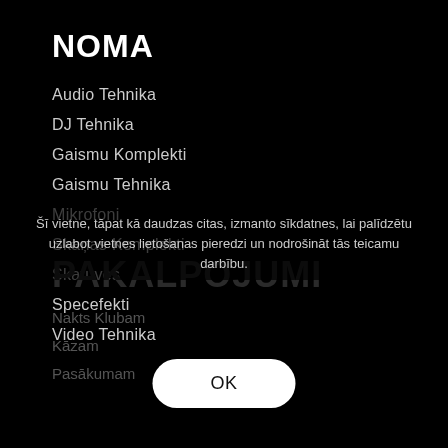NOMA
Audio Tehnika
DJ Tehnika
Gaismu Komplekti
Gaismu Tehnika
Mikrofoni
Skaņas Komplekti
Skatuves
Specefekti
Video Tehnika
Šī vietne, tāpat kā daudzas citas, izmanto sīkdatnes, lai palīdzētu uzlabot vietnes lietošanas pieredzi un nodrošināt tās teicamu darbību.
PAKALPOJUMI
Nakts Klubam
Kāzam
Pasākumam